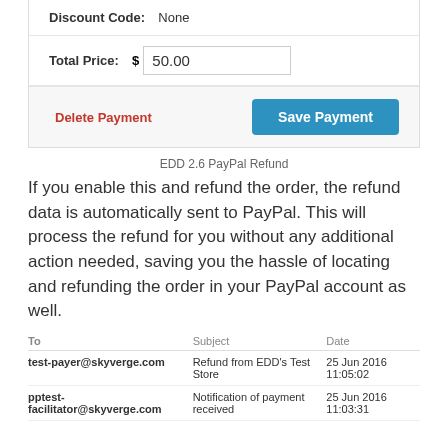| Discount Code: | None |
| Total Price: | $ 50.00 |
Delete Payment   Save Payment
EDD 2.6 PayPal Refund
If you enable this and refund the order, the refund data is automatically sent to PayPal. This will process the refund for you without any additional action needed, saving you the hassle of locating and refunding the order in your PayPal account as well.
| To | Subject | Date |
| --- | --- | --- |
| test-payer@skyverge.com | Refund from EDD's Test Store | 25 Jun 2016 11:05:02 |
| pptest-facilitator@skyverge.com | Notification of payment received | 25 Jun 2016 11:03:31 |